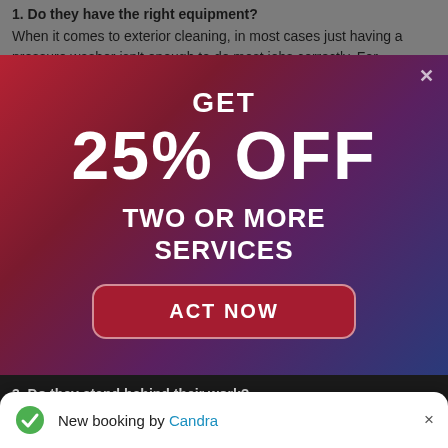1. Do they have the right equipment?
When it comes to exterior cleaning, in most cases just having a pressure washer isn't enough to do most jobs correctly. For example, when we clean the siding or a roof
[Figure (infographic): Promotional popup banner with red-to-blue gradient background. Text reads: GET 25% OFF TWO OR MORE SERVICES with an ACT NOW button.]
3. Do they stand behind their work?
New booking by Candra